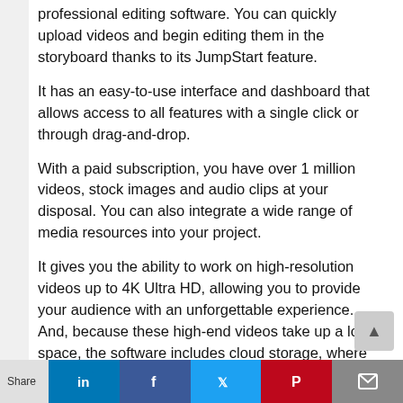professional editing software. You can quickly upload videos and begin editing them in the storyboard thanks to its JumpStart feature.
It has an easy-to-use interface and dashboard that allows access to all features with a single click or through drag-and-drop.
With a paid subscription, you have over 1 million videos, stock images and audio clips at your disposal. You can also integrate a wide range of media resources into your project.
It gives you the ability to work on high-resolution videos up to 4K Ultra HD, allowing you to provide your audience with an unforgettable experience. And, because these high-end videos take up a lot of space, the software includes cloud storage, where you can keep all of your data, including ongoing projects.
WeVideo syncs all of your work across multiple devices,
Share [LinkedIn] [Facebook] [Twitter] [Pinterest] [Email]